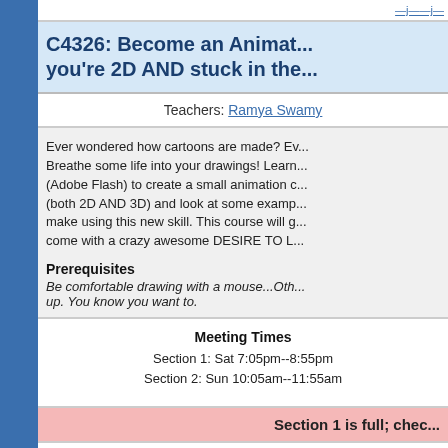C4326: Become an Animator even if you're 2D AND stuck in the...
Teachers: Ramya Swamy
Ever wondered how cartoons are made? Ev... Breathe some life into your drawings! Learn... (Adobe Flash) to create a small animation c... (both 2D AND 3D) and look at some examp... make using this new skill. This course will g... come with a crazy awesome DESIRE TO L...
Prerequisites
Be comfortable drawing with a mouse...Oth... up. You know you want to.
Meeting Times
Section 1: Sat 7:05pm--8:55pm
Section 2: Sun 10:05am--11:55am
Section 1 is full; chec...
Register for the C...